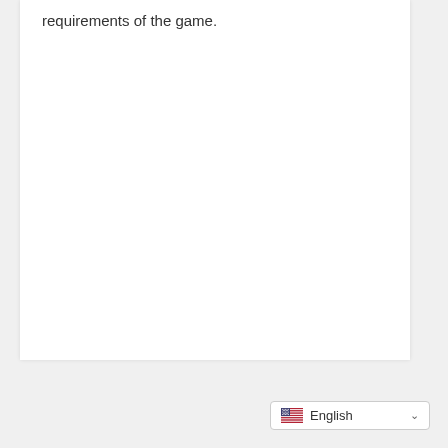requirements of the game.
[Figure (other): Language selector widget showing US flag and 'English' text with a dropdown chevron]